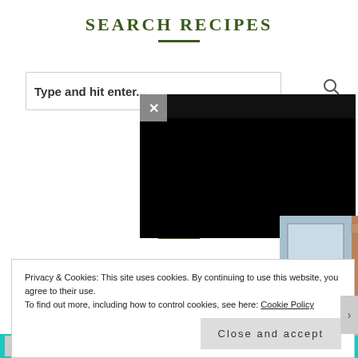SEARCH RECIPES
Type and hit enter...
[Figure (screenshot): A video popup showing an animated female chef character in a kitchen with brick walls and shelves. A close/X button appears in the upper left of the popup and another X button overlaid on the character.]
THE... (partially obscured text)
•
Privacy & Cookies: This site uses cookies. By continuing to use this website, you agree to their use.
To find out more, including how to control cookies, see here: Cookie Policy
Close and accept